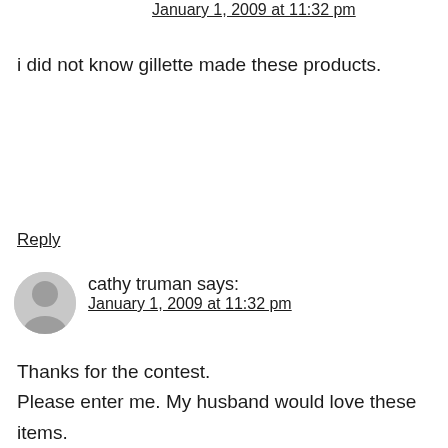January 1, 2009 at 11:32 pm
i did not know gillette made these products.
Reply
cathy truman says:
January 1, 2009 at 11:32 pm
Thanks for the contest. Please enter me. My husband would love these items.
Reply
Gail Crawford says: